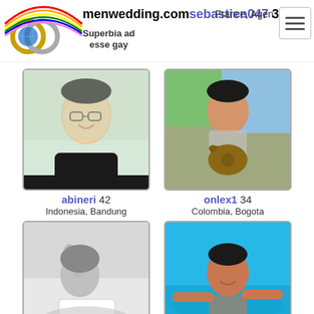menwedding.com — Superbia ad esse gay
sebastien047 39 — France, Agen
[Figure (photo): Profile photo of abineri, Asian man with glasses smiling]
abineri 42 — Indonesia, Bandung
[Figure (photo): Profile photo of onlex1, man holding a German shepherd dog outdoors]
onlex1 34 — Colombia, Bogota
[Figure (photo): Profile photo of lemon, black and white photo of person lying down]
lemon 29
[Figure (photo): Profile photo of Diogo, man in swimming pool]
Diogo 28